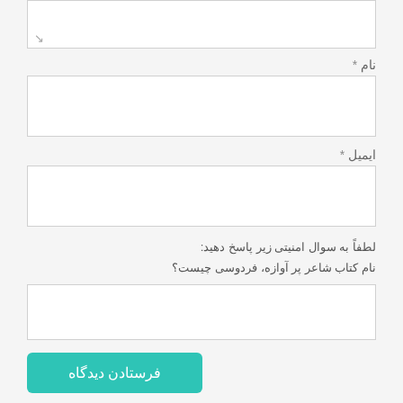[Figure (screenshot): Top portion of a comment/form input area (textarea) with resize handle visible]
نام *
[Figure (screenshot): Name input field (empty text box)]
ایمیل *
[Figure (screenshot): Email input field (empty text box)]
لطفاً به سوال امنیتی زیر پاسخ دهید:
نام کتاب شاعر پر آوازه، فردوسی چیست؟
[Figure (screenshot): Security answer input field (empty text box)]
فرستادن دیدگاه